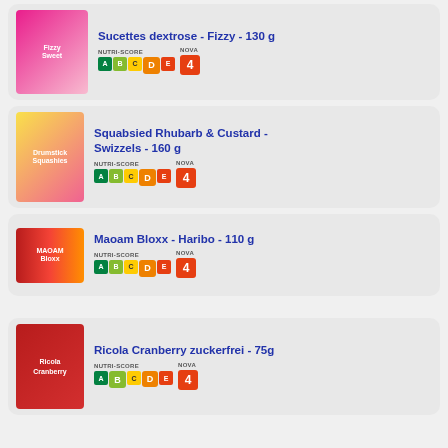Sucettes dextrose - Fizzy - 130 g, Nutri-Score D, Nova 4
Squabsied Rhubarb & Custard - Swizzels - 160 g, Nutri-Score D, Nova 4
Maoam Bloxx - Haribo - 110 g, Nutri-Score D, Nova 4
Ricola Cranberry zuckerfrei - 75g, Nutri-Score B, Nova 4